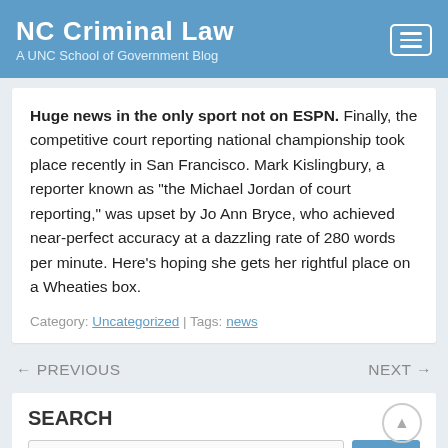NC Criminal Law — A UNC School of Government Blog
Huge news in the only sport not on ESPN. Finally, the competitive court reporting national championship took place recently in San Francisco. Mark Kislingbury, a reporter known as “the Michael Jordan of court reporting,” was upset by Jo Ann Bryce, who achieved near-perfect accuracy at a dazzling rate of 280 words per minute. Here's hoping she gets her rightful place on a Wheaties box.
Category: Uncategorized | Tags: news
← PREVIOUS    NEXT →
SEARCH